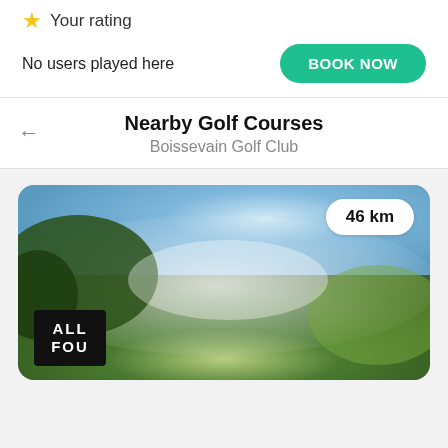Your rating
No users played here
BOOK NOW
Nearby Golf Courses
Boissevain Golf Club
[Figure (photo): Golf course landscape photo with green grass and blue sky; distance badge showing 46 km; logo badge showing ALL FOU in bottom left]
46 km